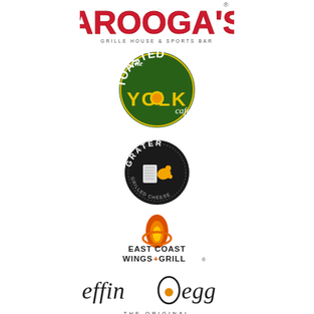[Figure (logo): Arooga's Grille House & Sports Bar logo — red stylized lettering with tagline 'GRILLE HOUSE & SPORTS BAR']
[Figure (logo): The Toasted Yolk Cafe logo — circular dark green badge with yellow egg yolk in the O of YOLK, script 'The' and 'cafe']
[Figure (logo): Grater Grilled Cheese logo — circular black badge with grater and cheese illustration, text GRATER GRILLED CHEESE]
[Figure (logo): East Coast Wings + Grill logo — orange flame icon above bold text EAST COAST WINGS + GRILL]
[Figure (logo): effin egg logo — lowercase italic text 'effin egg' with egg/circle replacing the space, orange yolk dot]
[Figure (logo): The Original Hot Dog logo — small caps 'THE ORIGINAL' above bold blocky 'HOT DOG' lettering]